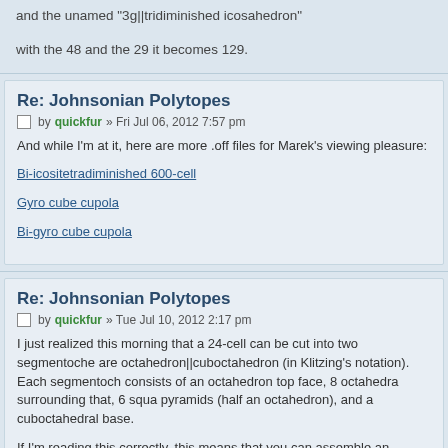and the unamed "3g||tridiminished icosahedron"
with the 48 and the 29 it becomes 129.
Re: Johnsonian Polytopes
by quickfur » Fri Jul 06, 2012 7:57 pm
And while I'm at it, here are more .off files for Marek's viewing pleasure:
Bi-icositetradiminished 600-cell
Gyro cube cupola
Bi-gyro cube cupola
Re: Johnsonian Polytopes
by quickfur » Tue Jul 10, 2012 2:17 pm
I just realized this morning that a 24-cell can be cut into two segmentoche are octahedron||cuboctahedron (in Klitzing's notation). Each segmentoch consists of an octahedron top face, 8 octahedra surrounding that, 6 squa pyramids (half an octahedron), and a cuboctahedral base.
If I'm reading this correctly, this means that you can assemble an octahedron||cuboctahedron with a cube||cuboctahedron, to get a CRF wi